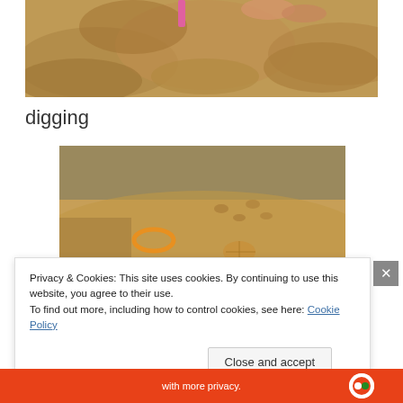[Figure (photo): Close-up photo of sand being dug at a beach, showing textured sand and hands/tools digging, with pink toy visible at top]
digging
[Figure (photo): Beach sand photo showing an orange/yellow bucket or ring on the sand surface with footprints and a shell visible]
Privacy & Cookies: This site uses cookies. By continuing to use this website, you agree to their use.
To find out more, including how to control cookies, see here: Cookie Policy
Close and accept
[Figure (screenshot): Red advertisement bar at bottom with text 'with more privacy.' and a circular logo icon on the right]